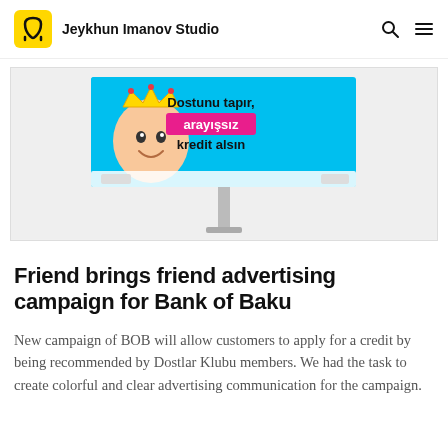Jeykhun Imanov Studio
[Figure (photo): Billboard advertisement for Bank of Baku showing a young man with a golden crown, cyan background with text 'Dostunu tapır, arayışsız kredit alsın' in Azerbaijani, mounted on a pole against a white background.]
Friend brings friend advertising campaign for Bank of Baku
New campaign of BOB will allow customers to apply for a credit by being recommended by Dostlar Klubu members. We had the task to create colorful and clear advertising communication for the campaign.